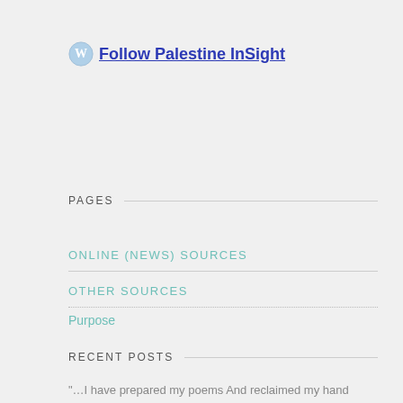Follow Palestine InSight
PAGES
ONLINE (NEWS) SOURCES
OTHER SOURCES
Purpose
RECENT POSTS
"…I have prepared my poems And reclaimed my hand From the combat of the street…" Ibrahim Nasrallah
"…I shall continue to carve All the chapters of my tragedy…" – Tawfiq